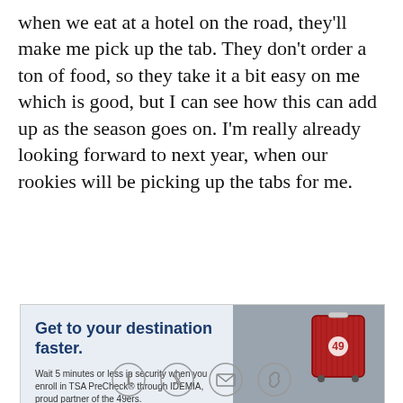when we eat at a hotel on the road, they'll make me pick up the tab. They don't order a ton of food, so they take it a bit easy on me which is good, but I can see how this can add up as the season goes on. I'm really already looking forward to next year, when our rookies will be picking up the tabs for me.
[Figure (infographic): TSA PreCheck advertisement featuring red and white 49ers-branded luggage on a conveyor belt. Text: 'Get to your destination faster. Wait 5 minutes or less in security when you enroll in TSA PreCheck® through IDEMIA, proud partner of the 49ers.' Sign up button. TSA PreCheck and IDEMIA logos at bottom.]
[Figure (other): Social sharing icons: Facebook, Twitter, email, and link/chain icon]